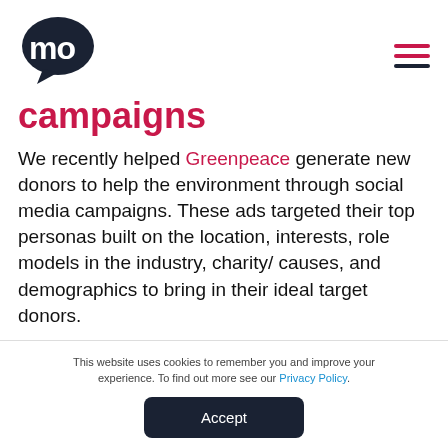MO logo and navigation menu
campaigns
We recently helped Greenpeace generate new donors to help the environment through social media campaigns. These ads targeted their top personas built on the location, interests, role models in the industry, charity/ causes, and demographics to bring in their ideal target donors.
This website uses cookies to remember you and improve your experience. To find out more see our Privacy Policy.
Accept